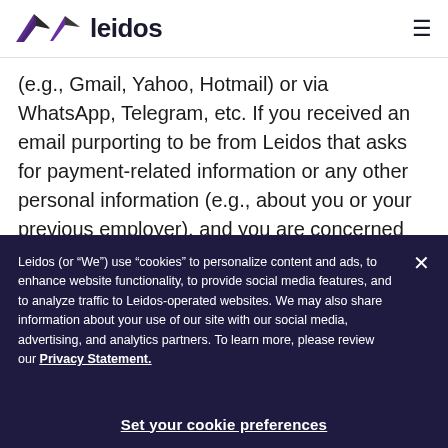leidos
(e.g., Gmail, Yahoo, Hotmail) or via WhatsApp, Telegram, etc. If you received an email purporting to be from Leidos that asks for payment-related information or any other personal information (e.g., about you or your previous employer), and you are concerned about its legitimacy, please make us aware immediately by
Leidos (or “We”) use “cookies” to personalize content and ads, to enhance website functionality, to provide social media features, and to analyze traffic to Leidos-operated websites. We may also share information about your use of our site with our social media, advertising, and analytics partners. To learn more, please review our Privacy Statement.
Set your cookie preferences